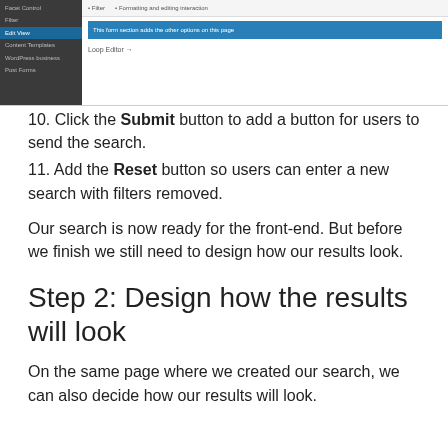[Figure (screenshot): Screenshot of a WordPress/FacetWP admin interface showing a sidebar with navigation items (Facet Control, Filter, Edit View, Content Templates, WordPress business, Post Forms) and a main area with a blue highlighted bar and Loop Editor text.]
10. Click the Submit button to add a button for users to send the search.
11. Add the Reset button so users can enter a new search with filters removed.
Our search is now ready for the front-end. But before we finish we still need to design how our results look.
Step 2: Design how the results will look
On the same page where we created our search, we can also decide how our results will look.